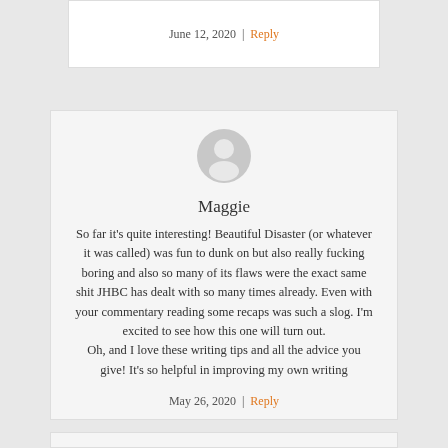June 12, 2020 | Reply
[Figure (illustration): Default user avatar — grey circle with white silhouette of a person]
Maggie
So far it's quite interesting! Beautiful Disaster (or whatever it was called) was fun to dunk on but also really fucking boring and also so many of its flaws were the exact same shit JHBC has dealt with so many times already. Even with your commentary reading some recaps was such a slog. I'm excited to see how this one will turn out.
Oh, and I love these writing tips and all the advice you give! It's so helpful in improving my own writing
May 26, 2020 | Reply